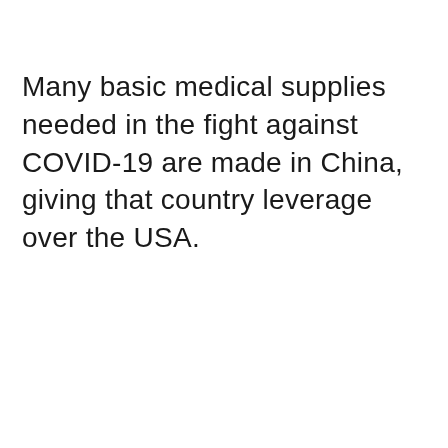Many basic medical supplies needed in the fight against COVID-19 are made in China, giving that country leverage over the USA.